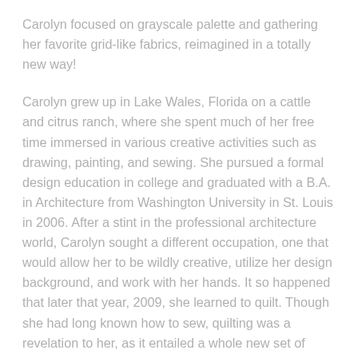Carolyn focused on grayscale palette and gathering her favorite grid-like fabrics, reimagined in a totally new way!
Carolyn grew up in Lake Wales, Florida on a cattle and citrus ranch, where she spent much of her free time immersed in various creative activities such as drawing, painting, and sewing. She pursued a formal design education in college and graduated with a B.A. in Architecture from Washington University in St. Louis in 2006. After a stint in the professional architecture world, Carolyn sought a different occupation, one that would allow her to be wildly creative, utilize her design background, and work with her hands. It so happened that later that year, 2009, she learned to quilt. Though she had long known how to sew, quilting was a revelation to her, as it entailed a whole new set of tools, materials, and, most importantly, creative possibilities. She quickly recognized quilting as a new passion and set out to learn everything she could about the craft. In